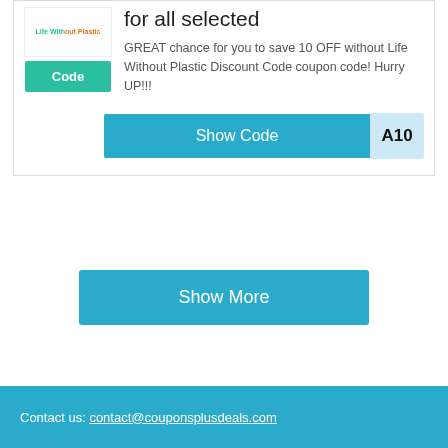[Figure (logo): Life Without Plastic logo with green and orange text]
Code
for all selected
GREAT chance for you to save 10 OFF without Life Without Plastic Discount Code coupon code! Hurry UP!!!
Show Code | A10
Show More
Contact us: contact@couponsplusdeals.com